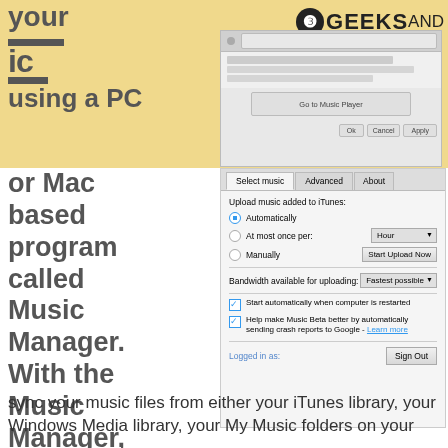your music using a PC or Mac based program called Music Manager. With the Music Manager, you can sync your music files from either your iTunes library, your Windows Media library, your My Music folders on your PC or from any other folders you choose.
[Figure (logo): 3 Geeks and a Law Blog logo with circle numeral 3]
[Figure (screenshot): Google Music Manager Advanced settings dialog showing upload options, bandwidth settings, checkboxes for auto-start and crash reports, and Sign Out button]